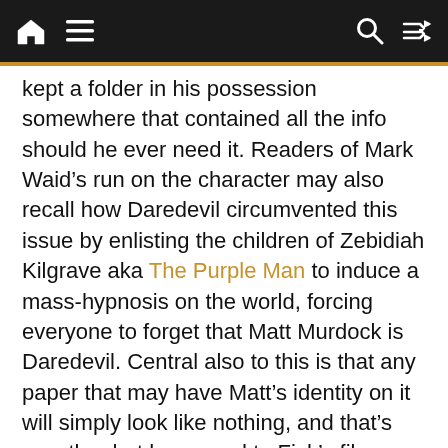Navigation bar with home, menu, search, and shuffle icons
kept a folder in his possession somewhere that contained all the info should he ever need it. Readers of Mark Waid’s run on the character may also recall how Daredevil circumvented this issue by enlisting the children of Zebidiah Kilgrave aka The Purple Man to induce a mass-hypnosis on the world, forcing everyone to forget that Matt Murdock is Daredevil. Central also to this is that any paper that may have Matt’s identity on it will simply look like nothing, and that’s exactly what happened to Fisk’s file.
Knowing full well that he had this folder, which definitely had this information in it, Fisk uses his powers as Mayor to pay Kilgrave a visit. Locked away since he was apprehended a few years ago, Fisk goes to him not to get revenge for making him